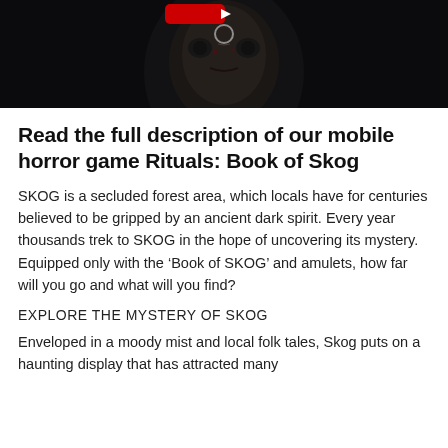[Figure (screenshot): Dark atmospheric image showing a creepy doll face with red markings on a dark background. A YouTube play button is visible at the top center, and a circular ring element is below it.]
Read the full description of our mobile horror game Rituals: Book of Skog
SKOG is a secluded forest area, which locals have for centuries believed to be gripped by an ancient dark spirit. Every year thousands trek to SKOG in the hope of uncovering its mystery. Equipped only with the ‘Book of SKOG’ and amulets, how far will you go and what will you find?
EXPLORE THE MYSTERY OF SKOG
Enveloped in a moody mist and local folk tales, Skog puts on a haunting display that has attracted many